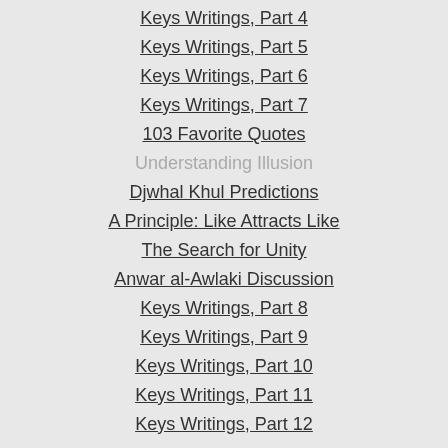Keys Writings, Part 4
Keys Writings, Part 5
Keys Writings, Part 6
Keys Writings, Part 7
103 Favorite Quotes
Understanding Illusion
Djwhal Khul Predictions
A Principle: Like Attracts Like
The Search for Unity
Anwar al-Awlaki Discussion
Keys Writings, Part 8
Keys Writings, Part 9
Keys Writings, Part 10
Keys Writings, Part 11
Keys Writings, Part 12